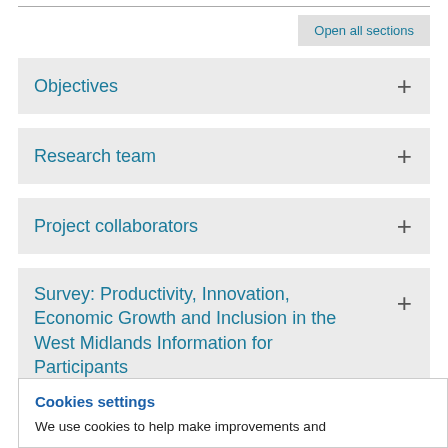Open all sections
Objectives
Research team
Project collaborators
Survey: Productivity, Innovation, Economic Growth and Inclusion in the West Midlands Information for Participants
Cookies settings
We use cookies to help make improvements and